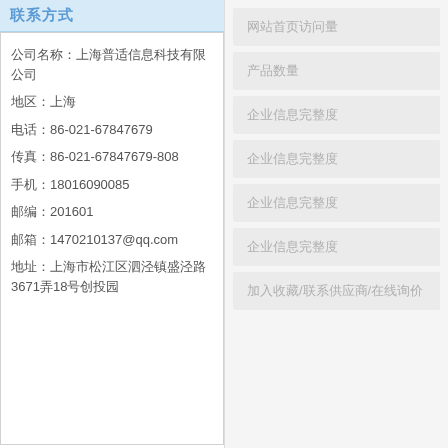联系方式
公司名称：上海普适信息科技有限公司
地区：上海
电话：86-021-67847679
传真：86-021-67847679-808
手机：18016090085
邮编：201601
邮箱：1470210137@qq.com
地址：上海市松江区泗泾镇盛泾路3671弄18号创投园
网站首页访问量
产品数量
企业信息完整度
企业信息完整度
企业信息完整度
企业信息完整度
加入收藏/联系供应商/在线询价